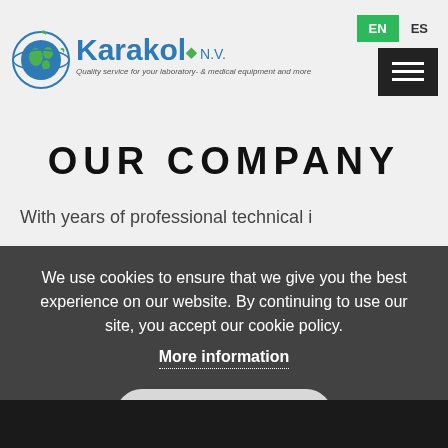[Figure (logo): Karakol N.V. company logo with globe icon and tagline: Quality service for your laboratory- & medical equipment and more]
EN   ES
[Figure (other): Hamburger menu icon (three horizontal white lines on black background)]
OUR COMPANY
With years of professional technical...
We use cookies to ensure that we give you the best experience on our website. By continuing to use our site, you accept our cookie policy.
More information
ACCEPT